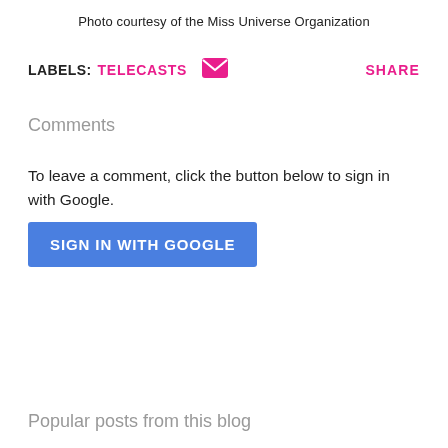Photo courtesy of the Miss Universe Organization
LABELS: TELECASTS  SHARE
Comments
To leave a comment, click the button below to sign in with Google.
SIGN IN WITH GOOGLE
Popular posts from this blog